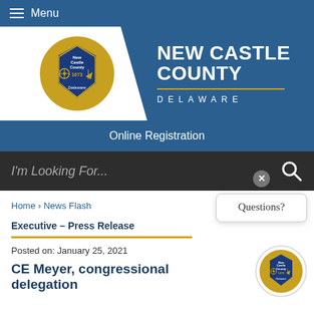Menu
[Figure (logo): New Castle County Delaware logo/banner with county seal, white and blue background]
Online Registration
I'm Looking For...
Home › News Flash
Executive – Press Release
Posted on: January 25, 2021
CE Meyer, congressional delegation